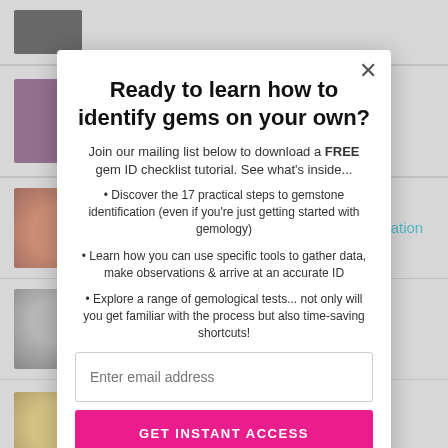[Figure (screenshot): Background page showing a list of gemstone articles with thumbnail images and teal-colored link titles]
Ready to learn how to identify gems on your own?
Join our mailing list below to download a FREE gem ID checklist tutorial. See what's inside...
Discover the 17 practical steps to gemstone identification (even if you're just getting started with gemology)
Learn how you can use specific tools to gather data, make observations & arrive at an accurate ID
Explore a range of gemological tests... not only will you get familiar with the process but also time-saving shortcuts!
Enter email address
GET INSTANT ACCESS